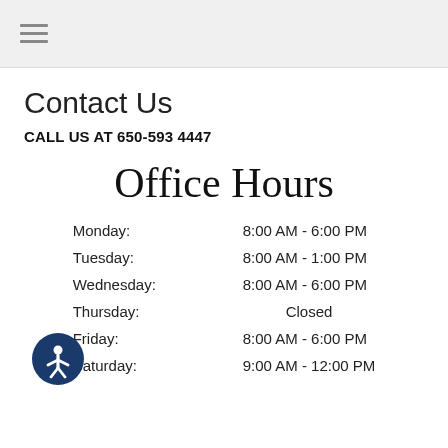Contact Us
CALL US AT 650-593 4447
Office Hours
| Day | Hours |
| --- | --- |
| Monday: | 8:00 AM - 6:00 PM |
| Tuesday: | 8:00 AM - 1:00 PM |
| Wednesday: | 8:00 AM - 6:00 PM |
| Thursday: | Closed |
| Friday: | 8:00 AM - 6:00 PM |
| Saturday: | 9:00 AM - 12:00 PM |